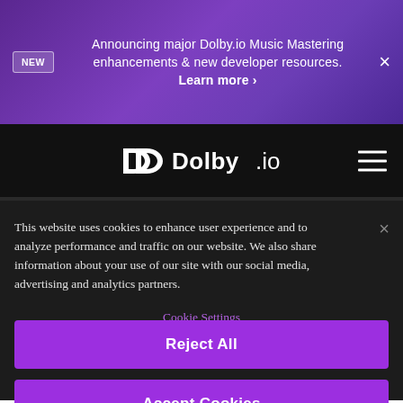NEW Announcing major Dolby.io Music Mastering enhancements & new developer resources. Learn more >
[Figure (logo): Dolby.io logo with double-D symbol on black navigation bar with hamburger menu icon]
This website uses cookies to enhance user experience and to analyze performance and traffic on our website. We also share information about your use of our site with our social media, advertising and analytics partners.
Cookie Settings
Reject All
Accept Cookies